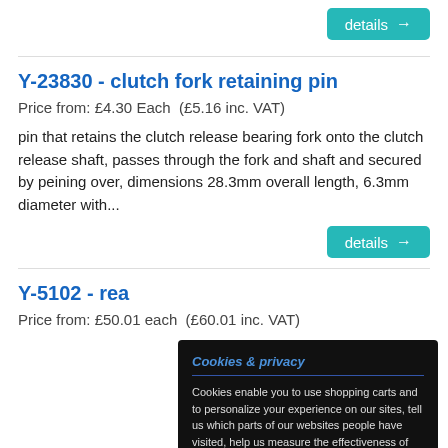[Figure (other): Teal 'details →' button at top right]
Y-23830 - clutch fork retaining pin
Price from: £4.30 Each  (£5.16 inc. VAT)
pin that retains the clutch release bearing fork onto the clutch release shaft, passes through the fork and shaft and secured by peining over, dimensions 28.3mm overall length, 6.3mm diameter with...
[Figure (other): Teal 'details →' button at bottom right of first product]
Y-5102 - rea
Price from: £50.01 each  (£60.01 inc. VAT)
Cookies & privacy

Cookies enable you to use shopping carts and to personalize your experience on our sites, tell us which parts of our websites people have visited, help us measure the effectiveness of ads and web searches, and give us insights into user behaviour so we can improve our communications and products.

Accept cookies  Customize cookies